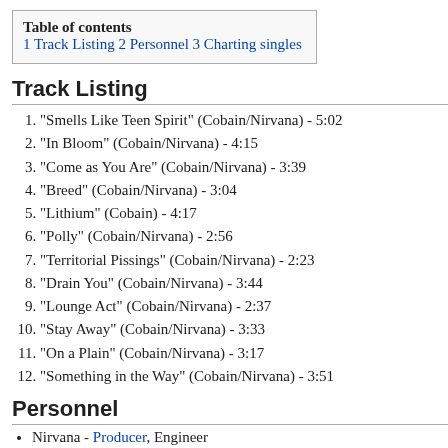| Table of contents |
| --- |
| 1 Track Listing |
| 2 Personnel |
| 3 Charting singles |
Track Listing
"Smells Like Teen Spirit" (Cobain/Nirvana) - 5:02
"In Bloom" (Cobain/Nirvana) - 4:15
"Come as You Are" (Cobain/Nirvana) - 3:39
"Breed" (Cobain/Nirvana) - 3:04
"Lithium" (Cobain) - 4:17
"Polly" (Cobain/Nirvana) - 2:56
"Territorial Pissings" (Cobain/Nirvana) - 2:23
"Drain You" (Cobain/Nirvana) - 3:44
"Lounge Act" (Cobain/Nirvana) - 2:37
"Stay Away" (Cobain/Nirvana) - 3:33
"On a Plain" (Cobain/Nirvana) - 3:17
"Something in the Way" (Cobain/Nirvana) - 3:51
Personnel
Nirvana - Producer, Engineer